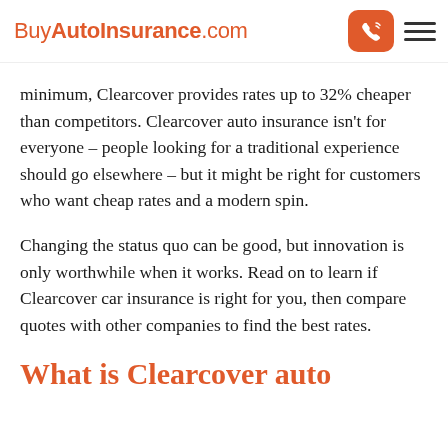BuyAutoInsurance.com
minimum, Clearcover provides rates up to 32% cheaper than competitors. Clearcover auto insurance isn't for everyone – people looking for a traditional experience should go elsewhere – but it might be right for customers who want cheap rates and a modern spin.
Changing the status quo can be good, but innovation is only worthwhile when it works. Read on to learn if Clearcover car insurance is right for you, then compare quotes with other companies to find the best rates.
What is Clearcover auto